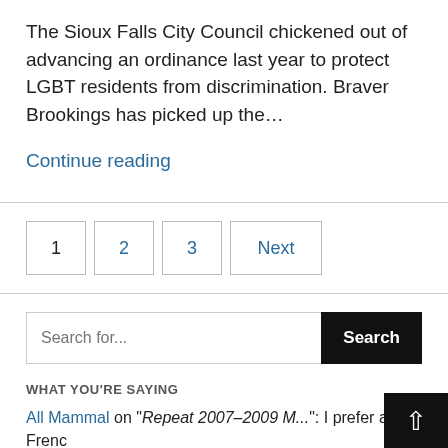The Sioux Falls City Council chickened out of advancing an ordinance last year to protect LGBT residents from discrimination. Braver Brookings has picked up the…
Continue reading
1  2  3  Next
Search for...  Search
WHAT YOU'RE SAYING
All Mammal on "Repeat 2007–2009 M...": I prefer a Frenc